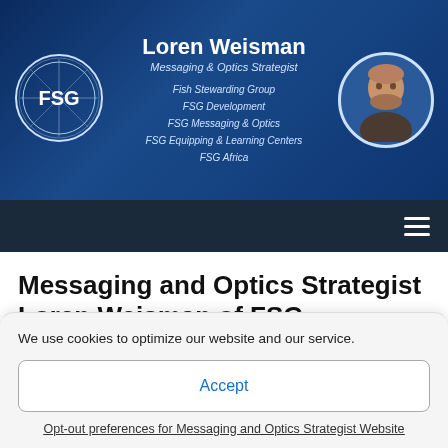[Figure (screenshot): Website header banner for Fish Stewarding Group (FSG) featuring FSG logo circle on left, centered text with Loren Weisman name and Messaging & Optics Strategist subtitle and organization list, and circular headshot photo on right, on dark blue gradient background]
[Figure (other): Dark navy navigation bar with hamburger menu icon (three horizontal white lines) on the right]
Messaging and Optics Strategist Loren Weisman of FSG
FSG Messaging and Optics Strategist Loren Weisman of the Fish Stewarding Group.
We use cookies to optimize our website and our service.
Accept
Opt-out preferences for Messaging and Optics Strategist Website